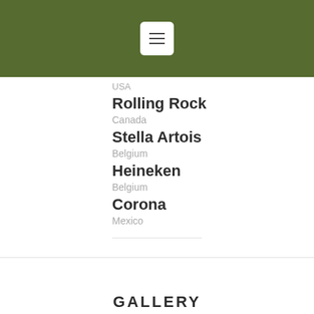[menu icon header bar]
USA
Rolling Rock
Canada
Stella Artois
Belgium
Heineken
Belgium
Corona
Mexico
GALLERY